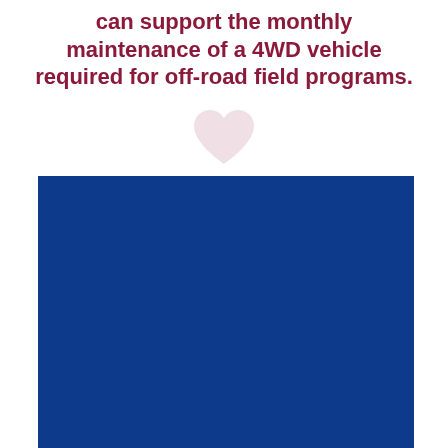can support the monthly maintenance of a 4WD vehicle required for off-road field programs.
[Figure (illustration): A light pink/white heart icon]
[Figure (other): Solid dark blue rectangle occupying the lower portion of the page]